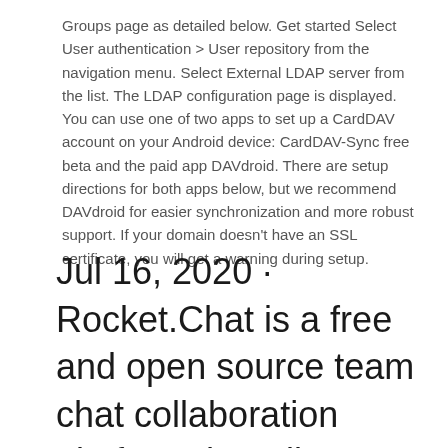Groups page as detailed below. Get started Select User authentication > User repository from the navigation menu. Select External LDAP server from the list. The LDAP configuration page is displayed. You can use one of two apps to set up a CardDAV account on your Android device: CardDAV-Sync free beta and the paid app DAVdroid. There are setup directions for both apps below, but we recommend DAVdroid for easier synchronization and more robust support. If your domain doesn't have an SSL certificate, you will get a warning during setup.
Jul 16, 2020 · Rocket.Chat is a free and open source team chat collaboration platform that allows users to communicate securely in real-time across devices on web,